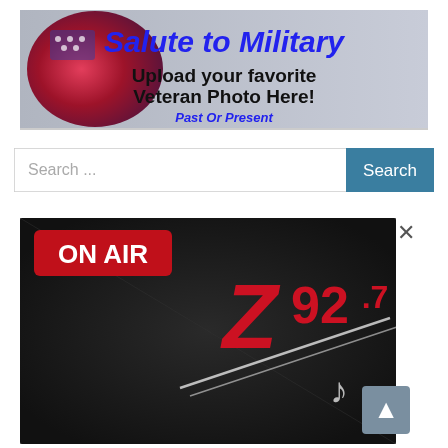[Figure (infographic): Salute to Military banner with American flag imagery. Text reads: 'Salute to Military', 'Upload your favorite Veteran Photo Here!', 'Past Or Present']
[Figure (screenshot): Search bar with placeholder text 'Search ...' and a teal 'Search' button]
[Figure (screenshot): Z92.7 radio station advertisement with 'ON AIR' badge on dark background with music notes and headphone imagery. Has an X close button. Scroll-to-top button visible at bottom right.]